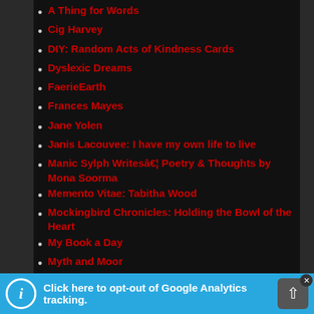A Thing for Words
Cig Harvey
DIY: Random Acts of Kindness Cards
Dyslexic Dreams
FaerieEarth
Frances Mayes
Jane Yolen
Janis Lacouvee: I have my own life to live
Manic Sylph Writesâ€¦ Poetry & Thoughts by Mona Soorma
Memento Vitae: Tabitha Wood
Mockingbird Chronicles: Holding the Bowl of the Heart
My Book a Day
Myth and Moor
Nanowrimo: National Novel Writer's Month
Out of Context Quotes – Funny Quotations Etc.
Poem-a-Day
Rhonda Riley, Author
Sheila Blanchette | Author
Click here to opt-out of Google Analytics tracking.